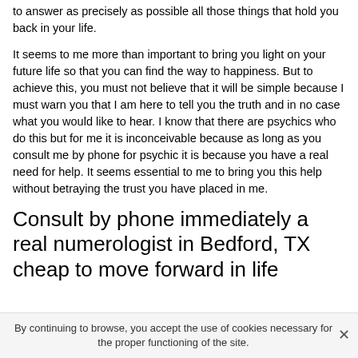to answer as precisely as possible all those things that hold you back in your life.
It seems to me more than important to bring you light on your future life so that you can find the way to happiness. But to achieve this, you must not believe that it will be simple because I must warn you that I am here to tell you the truth and in no case what you would like to hear. I know that there are psychics who do this but for me it is inconceivable because as long as you consult me by phone for psychic it is because you have a real need for help. It seems essential to me to bring you this help without betraying the trust you have placed in me.
Consult by phone immediately a real numerologist in Bedford, TX cheap to move forward in life
By continuing to browse, you accept the use of cookies necessary for the proper functioning of the site.